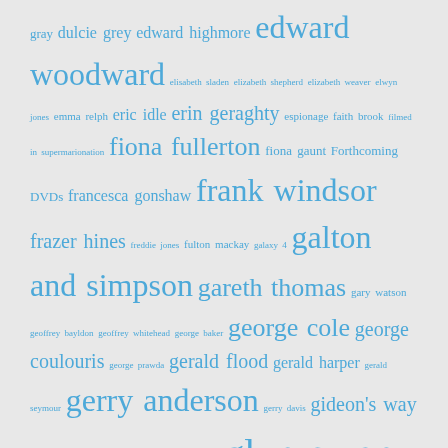gray dulcie grey edward highmore edward woodward elisabeth sladen elizabeth shepherd elizabeth weaver elwyn jones emma relph eric idle erin geraghty espionage faith brook filmed in supermarionation fiona fullerton fiona gaunt Forthcoming DVDs francesca gonshaw frank windsor frazer hines freddie jones fulton mackay galaxy 4 galton and simpson gareth thomas gary watson geoffrey bayldon geoffrey whitehead george baker george cole george coulouris george prawda gerald flood gerald harper gerald seymour gerry anderson gerry davis gideon's way glynis barber glyn jones glynn edwards glyn owen graham chapman graham crowden graham pountney grange hill - series 01 grange hill - series 02 grange hill - series 03 grange hill - series 04 grange hill - series 05 grange hill - series 06 grange hill - series 07 grange hill - series 08 grange hill - series 09 grange hill - series 10 grange hill - series 11 grange hill - series 12 grange hill - series 13 h.g. wells' invisible man hancock hancock's half hour harold